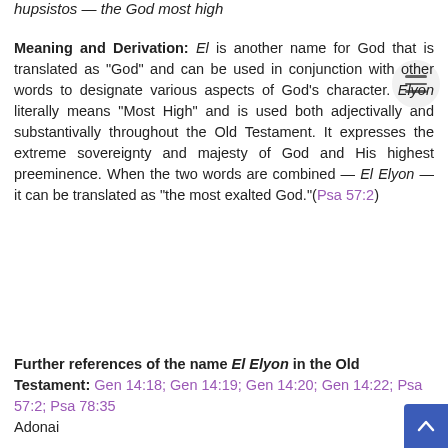hupsistos — the God most high
Meaning and Derivation: El is another name for God that is translated as "God" and can be used in conjunction with other words to designate various aspects of God's character. Elyon literally means "Most High" and is used both adjectivally and substantivally throughout the Old Testament. It expresses the extreme sovereignty and majesty of God and His highest preeminence. When the two words are combined — El Elyon — it can be translated as "the most exalted God."(Psa 57:2)
Further references of the name El Elyon in the Old Testament: Gen 14:18; Gen 14:19; Gen 14:20; Gen 14:22; Psa 57:2; Psa 78:35
Adonai